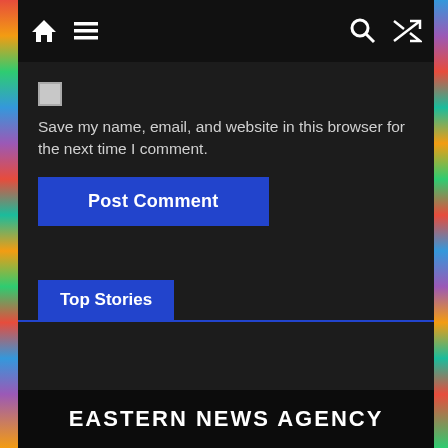Navigation bar with home, menu, search, and shuffle icons
Save my name, email, and website in this browser for the next time I comment.
Post Comment
Top Stories
[Figure (photo): Group photo of six people standing in front of a decorative grid wall]
EASTERN NEWS AGENCY